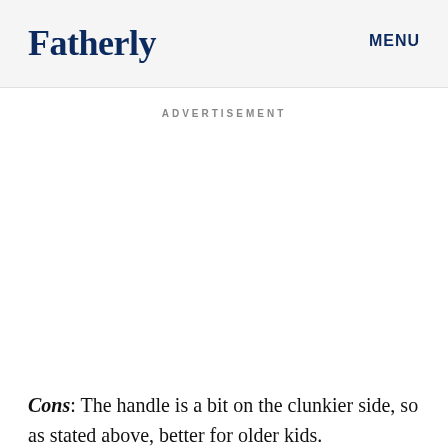Fatherly   MENU
ADVERTISEMENT
Cons: The handle is a bit on the clunkier side, so as stated above, better for older kids.